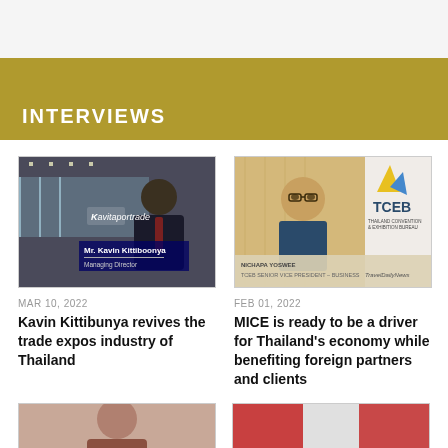INTERVIEWS
[Figure (photo): Photo of Mr. Kavin Kittiboonya, Managing Director, at a trade expo]
[Figure (photo): Photo of Nichapa Yoswee, TCEB Senior Vice President – Business, with TCEB logo, TravelDailyNews]
MAR 10, 2022
Kavin Kittibunya revives the trade expos industry of Thailand
FEB 01, 2022
MICE is ready to be a driver for Thailand's economy while benefiting foreign partners and clients
[Figure (photo): Partial photo at bottom left]
[Figure (photo): Partial photo at bottom right]